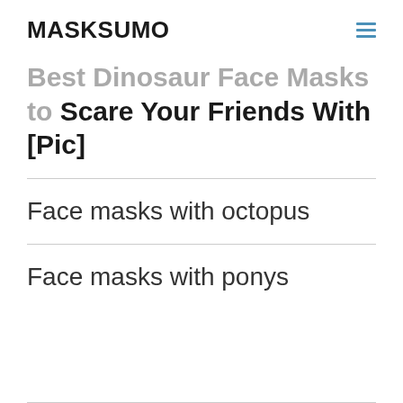MASKSUMO
Best Dinosaur Face Masks to Scare Your Friends With [Pic]
Face masks with octopus
Face masks with ponys